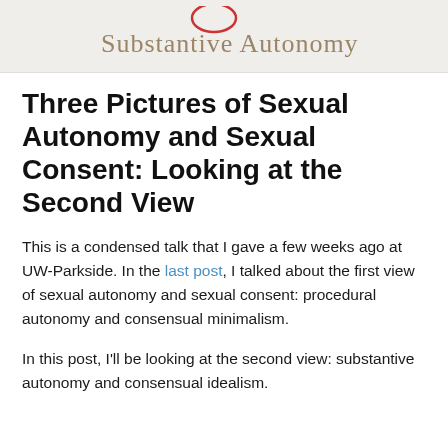[Figure (illustration): Blog header image with text 'Substantive Autonomy' on a light beige background, partially visible at the top]
Three Pictures of Sexual Autonomy and Sexual Consent: Looking at the Second View
This is a condensed talk that I gave a few weeks ago at UW-Parkside. In the last post, I talked about the first view of sexual autonomy and sexual consent: procedural autonomy and consensual minimalism.
In this post, I'll be looking at the second view: substantive autonomy and consensual idealism.